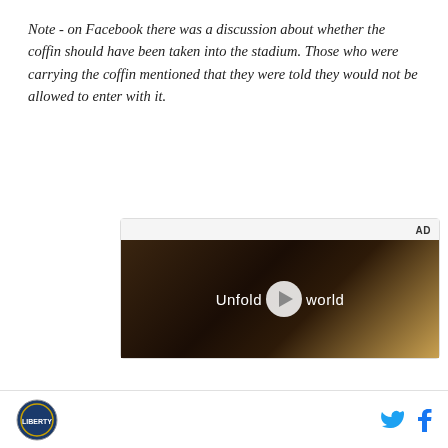Note - on Facebook there was a discussion about whether the coffin should have been taken into the stadium. Those who were carrying the coffin mentioned that they were told they would not be allowed to enter with it.
[Figure (screenshot): Advertisement block with 'AD' label and a video player showing a dark scene with a person holding a phone, overlaid with text 'Unfold your world' and a play button.]
Logo icon on left, Twitter and Facebook share icons on right